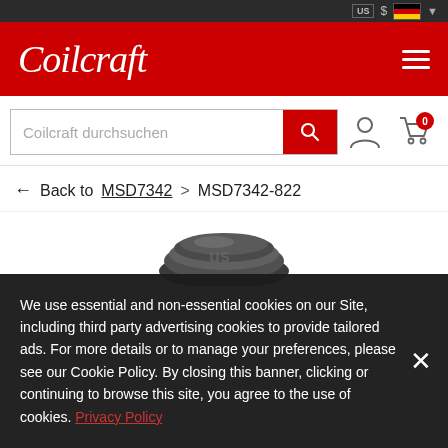[Figure (screenshot): Top navigation bar with icons for US locale, currency, German flag, and dropdown]
Coilcraft
[Figure (screenshot): Search bar with placeholder 'Coilcraft durchsuchen', red search button, user icon, and cart icon with badge 0]
← Back to MSD7342 › MSD7342-822
[Figure (photo): Partial product photo of a Coilcraft inductor component on dark background]
We use essential and non-essential cookies on our Site, including third party advertising cookies to provide tailored ads. For more details or to manage your preferences, please see our Cookie Policy. By closing this banner, clicking or continuing to browse this site, you agree to the use of cookies. Privacy Policy